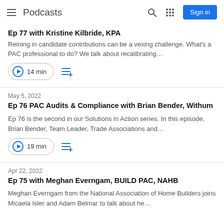Podcasts
Ep 77 with Kristine Kilbride, KPA
Reining in candidate contributions can be a vexing challenge. What's a PAC professional to do? We talk about recalibrating…
14 min
May 5, 2022
Ep 76 PAC Audits & Compliance with Brian Bender, Withum
Ep 76 is the second in our Solutions in Action series. In this episode, Brian Bender, Team Leader, Trade Associations and…
19 min
Apr 22, 2022
Ep 75 with Meghan Everngam, BUILD PAC, NAHB
Meghan Everngam from the National Association of Home Builders joins Micaela Isler and Adam Belmar to talk about he…